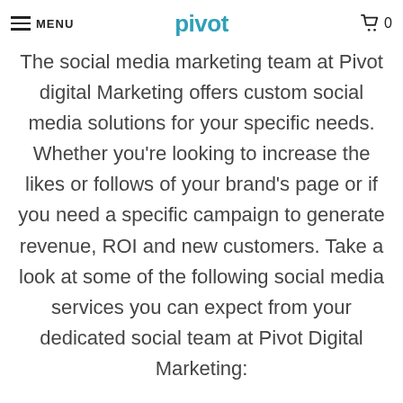MENU | pivot | 0
The social media marketing team at Pivot digital Marketing offers custom social media solutions for your specific needs. Whether you're looking to increase the likes or follows of your brand's page or if you need a specific campaign to generate revenue, ROI and new customers. Take a look at some of the following social media services you can expect from your dedicated social team at Pivot Digital Marketing: